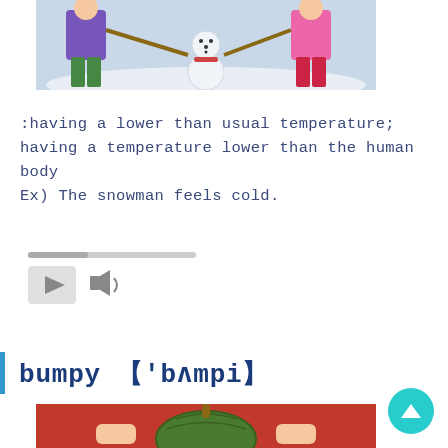[Figure (photo): Two children standing with a snowman in the snow, one wearing purple jacket and green pants, one wearing pink jacket]
:having a lower than usual temperature; having a temperature lower than the human body
Ex) The snowman feels cold.
[Figure (other): Audio player widget with play button and speaker icon]
bumpy 【'bʌmpi】
[Figure (photo): Person in red sweater holding a bumpy green gourd/pumpkin]